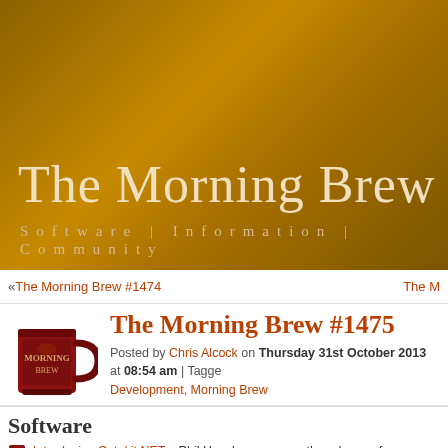The Morning Brew
Software | Information | Community
« The Morning Brew #1474    The M...
The Morning Brew #1475
Posted by Chris Alcock on Thursday 31st October 2013 at 08:54 am | Tagged: Development, Morning Brew
Software
Introducing Octokit.NET – Phil Haack announces the release of Octokit.NET, the thrid platform to have a client library for connecting to the GitHub API, written in .NET 4.5 and licensed using the MIT license this open source project provides working with GitHub.
Visual Studio 2012 tools for Git RTM – Brian Harry announces the RTM relea...